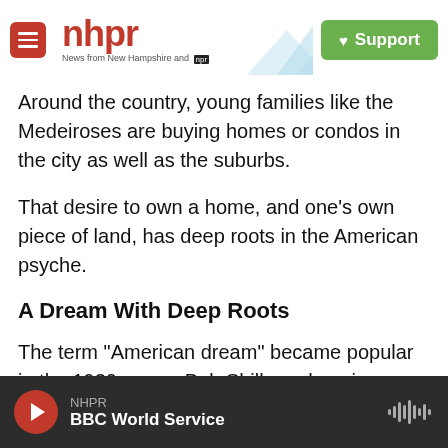nhpr — News from New Hampshire and NPR | Support
Around the country, young families like the Medeiroses are buying homes or condos in the city as well as the suburbs.
That desire to own a home, and one's own piece of land, has deep roots in the American psyche.
A Dream With Deep Roots
The term "American dream" became popular in the 1930s, says Bob Shiller, a housing economist at Yale. "But I associate it with the suburban movement that developed after World War II," he says.
NHPR | BBC World Service